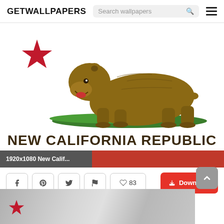GETWALLPAPERS
[Figure (illustration): California Republic / New California Republic flag illustration with grizzly bear walking on grass and a red star in upper left, white background]
NEW CALIFORNIA REPUBLIC
1920x1080 New Calif...
83
Download